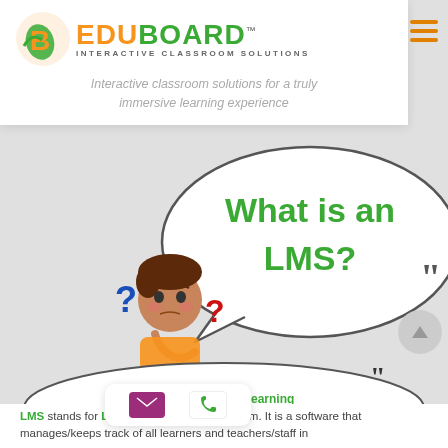[Figure (logo): EduBoard logo with orange and green B icon, orange and green text reading EDUBOARD, subtitle INTERACTIVE CLASSROOM SOLUTIONS]
Interactive classroom solutions for a truly immersive learning experience
[Figure (illustration): Speech bubble with text 'What is an LMS?' and closing quotation marks, with a cartoon boy thinking and question marks around him]
LMS stands for Learning Management System. It is a software that manages/keeps track of all learners and teachers/staff in